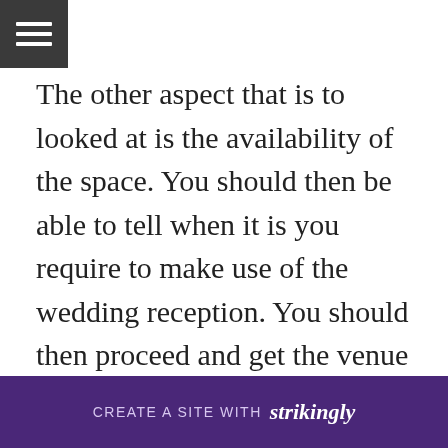[Figure (other): Hamburger menu icon — three white horizontal bars on a dark grey square background]
The other aspect that is to looked at is the availability of the space. You should then be able to tell when it is you require to make use of the wedding reception. You should then proceed and get the venue on the day and time that you need it. Your focus should always be to make the booking early to avoid inconveniences. Be sure to confirm with the event space owners that you have booked and you will have the chance to enjoy the space on y
CREATE A SITE WITH strikingly